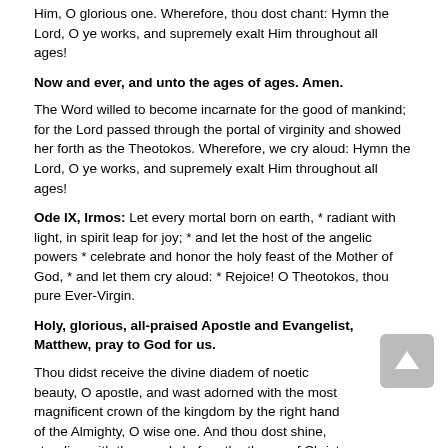Him, O glorious one. Wherefore, thou dost chant: Hymn the Lord, O ye works, and supremely exalt Him throughout all ages!
Now and ever, and unto the ages of ages. Amen.
The Word willed to become incarnate for the good of mankind; for the Lord passed through the portal of virginity and showed her forth as the Theotokos. Wherefore, we cry aloud: Hymn the Lord, O ye works, and supremely exalt Him throughout all ages!
Ode IX, Irmos: Let every mortal born on earth, * radiant with light, in spirit leap for joy; * and let the host of the angelic powers * celebrate and honor the holy feast of the Mother of God, * and let them cry aloud: * Rejoice! O Theotokos, thou pure Ever-Virgin.
Holy, glorious, all-praised Apostle and Evangelist, Matthew, pray to God for us.
Thou didst receive the divine diadem of noetic beauty, O apostle, and wast adorned with the most magnificent crown of the kingdom by the right hand of the Almighty, O wise one. And thou dost shine, standing with the angels before the throne of Christ the Master, O all-blessed one.